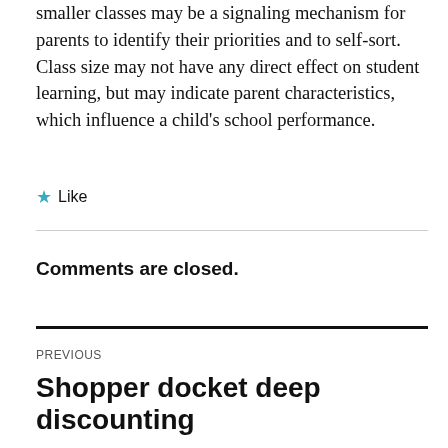smaller classes may be a signaling mechanism for parents to identify their priorities and to self-sort. Class size may not have any direct effect on student learning, but may indicate parent characteristics, which influence a child's school performance.
★ Like
Comments are closed.
PREVIOUS
Shopper docket deep discounting